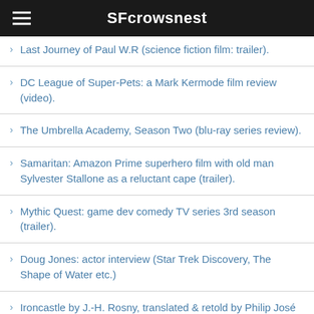SFcrowsnest
Last Journey of Paul W.R (science fiction film: trailer).
DC League of Super-Pets: a Mark Kermode film review (video).
The Umbrella Academy, Season Two (blu-ray series review).
Samaritan: Amazon Prime superhero film with old man Sylvester Stallone as a reluctant cape (trailer).
Mythic Quest: game dev comedy TV series 3rd season (trailer).
Doug Jones: actor interview (Star Trek Discovery, The Shape of Water etc.)
Ironcastle by J.-H. Rosny, translated & retold by Philip José Farmer (book review).
UFO Comic Anthology Volume Two (book review).
Robert Patrick, actor, interviewed about Terminator 2 (video).
Shazam! Fury of the Gods (DC superhero movie: trailer).
The Lord of the Rings: The Rings of Power first season's Comic-Con trailer (video).
I Am Groot (Marvel shorts tv series: trailer).